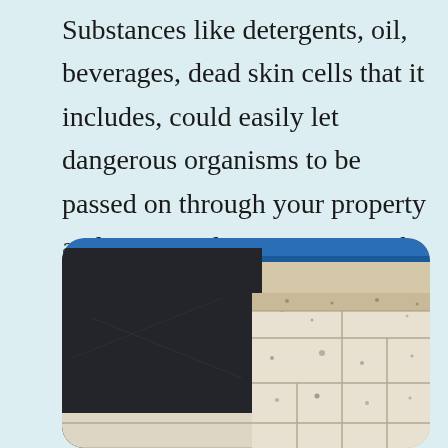Substances like detergents, oil, beverages, dead skin cells that it includes, could easily let dangerous organisms to be passed on through your property and come in direct contact with your body parts. If not sorted out rapidly, this category will easily become Blackwater.
[Figure (photo): Photo of a floor area with beige/cream speckled tiles and grout lines, with a dark navy/black rectangular object (possibly equipment or furniture) in the left foreground, and a blue strip visible at the top edge. The image has a rounded top-left and top-right corner.]